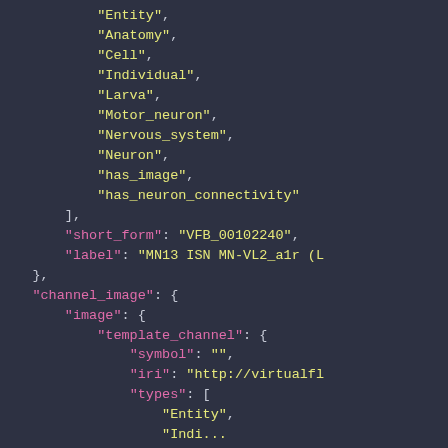JSON code snippet showing fields: Entity, Anatomy, Cell, Individual, Larva, Motor_neuron, Nervous_system, Neuron, has_image, has_neuron_connectivity, short_form: VFB_00102240, label: MN13 ISN MN-VL2_a1r (L...), channel_image: { image: { template_channel: { symbol: , iri: http://virtualfl..., types: [ Entity, ...